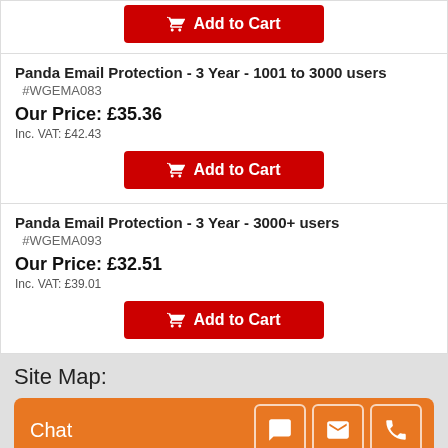[Figure (other): Add to Cart button (partial, top of page) — red button with cart icon]
Panda Email Protection - 3 Year - 1001 to 3000 users
#WGEMA083
Our Price: £35.36
Inc. VAT: £42.43
[Figure (other): Add to Cart button — red button with cart icon]
Panda Email Protection - 3 Year - 3000+ users
#WGEMA093
Our Price: £32.51
Inc. VAT: £39.01
[Figure (other): Add to Cart button — red button with cart icon]
Site Map:
[Figure (other): Orange chat bar with Chat label and icons for chat, email, phone]
[Figure (other): Secured by PositiveSSL badge]